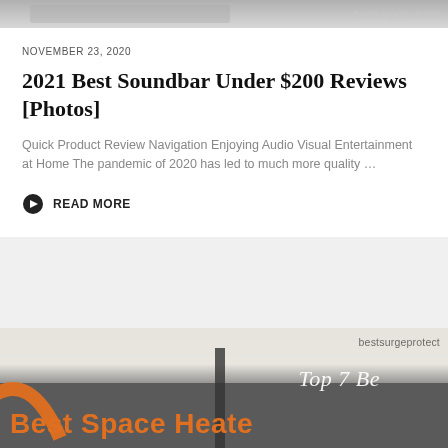[Figure (photo): Partial top image strip showing a product image with 'bestsurgeprotectio' watermark text visible in the upper right]
NOVEMBER 23, 2020
2021 Best Soundbar Under $200 Reviews [Photos]
Quick Product Review Navigation Enjoying Audio Visual Entertainment at Home The pandemic of 2020 has led to much more quality ...
READ MORE
[Figure (photo): Bottom image showing a space heater review thumbnail with 'bestsurgeprotect' watermark, 'Top 7 Be' italic text, and 'Best Space Heate' bold orange text on dark background]